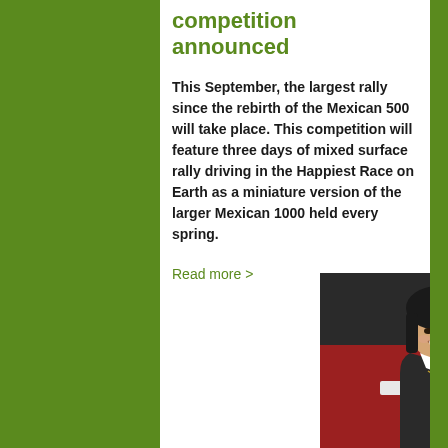competition announced
This September, the largest rally since the rebirth of the Mexican 500 will take place. This competition will feature three days of mixed surface rally driving in the Happiest Race on Earth as a miniature version of the larger Mexican 1000 held every spring.
Read more >
[Figure (photo): A smiling woman with dark hair and bangs, wearing a dark jacket and necklace, photographed in front of a red Chevrolet vehicle showing the bowtie logo and front grille.]